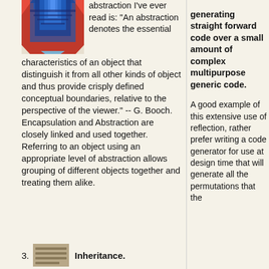[Figure (illustration): Abstract geometric/architectural illustration with blue and red shapes, perspective lines suggesting a tunnel or building facade]
abstraction I've ever read is: "An abstraction denotes the essential characteristics of an object that distinguish it from all other kinds of object and thus provide crisply defined conceptual boundaries, relative to the perspective of the viewer." -- G. Booch. Encapsulation and Abstraction are closely linked and used together.  Referring to an object using an appropriate level of abstraction allows grouping of different objects together and treating them alike.
generating straight forward code over a small amount of complex multipurpose generic code. A good example of this extensive use of reflection, rather prefer writing a code generator for use at design time that will generate all the permutations that the...
3. Inheritance.